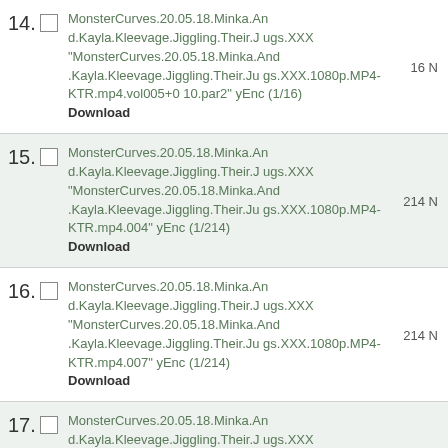14. MonsterCurves.20.05.18.Minka.And.Kayla.Kleevage.Jiggling.Their.Jugs.XXX "MonsterCurves.20.05.18.Minka.And.Kayla.Kleevage.Jiggling.Their.Jugs.XXX.1080p.MP4-KTR.mp4.vol005+010.par2" yEnc (1/16) Download 16 N
15. MonsterCurves.20.05.18.Minka.And.Kayla.Kleevage.Jiggling.Their.Jugs.XXX "MonsterCurves.20.05.18.Minka.And.Kayla.Kleevage.Jiggling.Their.Jugs.XXX.1080p.MP4-KTR.mp4.004" yEnc (1/214) Download 214 N
16. MonsterCurves.20.05.18.Minka.And.Kayla.Kleevage.Jiggling.Their.Jugs.XXX "MonsterCurves.20.05.18.Minka.And.Kayla.Kleevage.Jiggling.Their.Jugs.XXX.1080p.MP4-KTR.mp4.007" yEnc (1/214) Download 214 N
17. MonsterCurves.20.05.18.Minka.And.Kayla.Kleevage.Jiggling.Their.Jugs.XXX "MonsterCurves.20.05.18.Minka.And.Kayla.Kleevage.Jiggling.Their.Jugs.XXX.1080p.MP4-KTR.mp4.vol075+080.par2" yEnc (1/117) Download 117 N